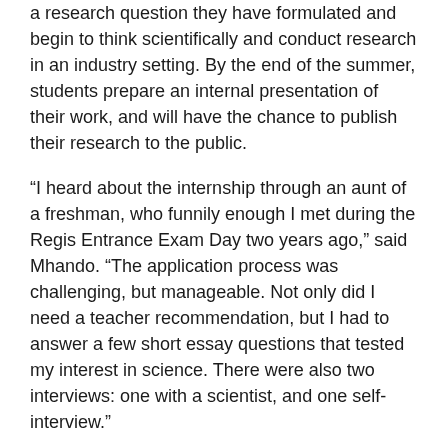a research question they have formulated and begin to think scientifically and conduct research in an industry setting. By the end of the summer, students prepare an internal presentation of their work, and will have the chance to publish their research to the public.
“I heard about the internship through an aunt of a freshman, who funnily enough I met during the Regis Entrance Exam Day two years ago,” said Mhando. “The application process was challenging, but manageable. Not only did I need a teacher recommendation, but I had to answer a few short essay questions that tested my interest in science. There were also two interviews: one with a scientist, and one self-interview.”
Several Regis faculty and staff assisted Mhando throughout the application and interview process, including Mr. Eric DiMichele, Mr. Xavier Simon ’05, Mr. Kurt Thiemann, and Dr. Stefano Cascapera, who provided Mhando with an array of scientific articles that helped him identify his scientific interests. “I didn’t have the pleasure of teaching Brian in Chemistry when he was a sophomore, but his love for science